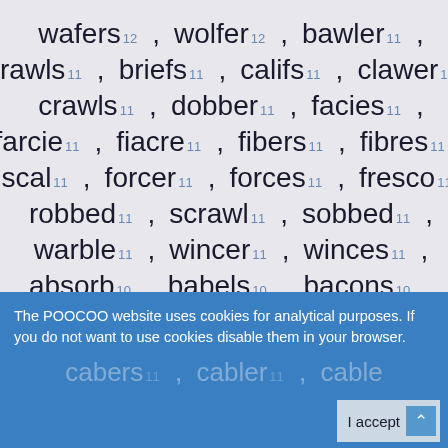wafers 12, wolfer 12, bawler 11,
brawls 11, briefs 11, califs 11, clawer 11,
crawls 11, dobber 11, facies 11,
farcie 11, fiacre 11, fibers 11, fibres 11,
fiscal 11, forcer 11, forces 11, fresco 11,
robbed 11, scrawl 11, sobbed 11,
warble 11, wincer 11, winces 11,
absorb 10, babels 10, bacons 10,
bancos 10, barbel 10, barbes 10,
cabers 11, cabler 11, cables 11,
The POOCOO website uses cookies for analytical purposes. If you do not want to use cookies disable them in your browser.